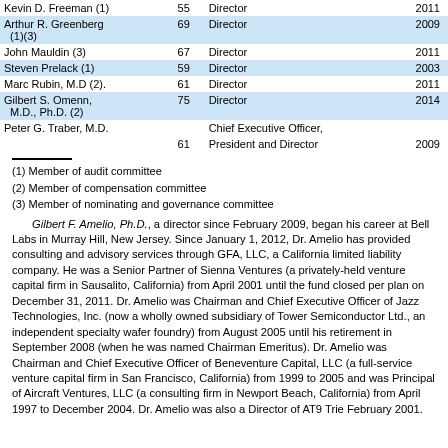| Name | Age | Position | Director Since |
| --- | --- | --- | --- |
| Kevin D. Freeman (1) | 55 | Director | 2011 |
| Arthur R. Greenberg (1)(3) | 69 | Director | 2009 |
| John Mauldin (3) | 67 | Director | 2011 |
| Steven Prelack (1) | 59 | Director | 2003 |
| Marc Rubin, M.D (2). | 61 | Director | 2011 |
| Gilbert S. Omenn, M.D., Ph.D. (2) | 75 | Director | 2014 |
| Peter G. Traber, M.D. | 61 | Chief Executive Officer, President and Director | 2009 |
(1) Member of audit committee
(2) Member of compensation committee
(3) Member of nominating and governance committee
Gilbert F. Amelio, Ph.D., a director since February 2009, began his career at Bell Labs in Murray Hill, New Jersey. Since January 1, 2012, Dr. Amelio has provided consulting and advisory services through GFA, LLC, a California limited liability company. He was a Senior Partner of Sienna Ventures (a privately-held venture capital firm in Sausalito, California) from April 2001 until the fund closed per plan on December 31, 2011. Dr. Amelio was Chairman and Chief Executive Officer of Jazz Technologies, Inc. (now a wholly owned subsidiary of Tower Semiconductor Ltd., an independent specialty wafer foundry) from August 2005 until his retirement in September 2008 (when he was named Chairman Emeritus). Dr. Amelio was Chairman and Chief Executive Officer of Beneventure Capital, LLC (a full-service venture capital firm in San Francisco, California) from 1999 to 2005 and was Principal of Aircraft Ventures, LLC (a consulting firm in Newport Beach, California) from April 1997 to December 2004. Dr. Amelio was also a Director of AT9 Trie February 2001.